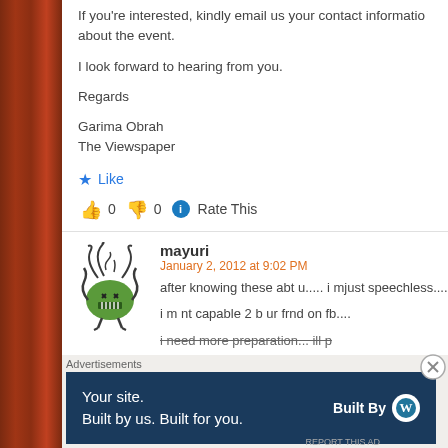If you're interested, kindly email us your contact information about the event.
I look forward to hearing from you.
Regards
Garima Obrah
The Viewspaper
★ Like
👍 0 👎 0 ℹ️ Rate This
mayuri
January 2, 2012 at 9:02 PM
after knowing these abt u..... i mjust speechless....
i m nt capable 2 b ur frnd on fb....
i need more preparation... ill p
Advertisements
Your site. Built by us. Built for you. Built By WordPress